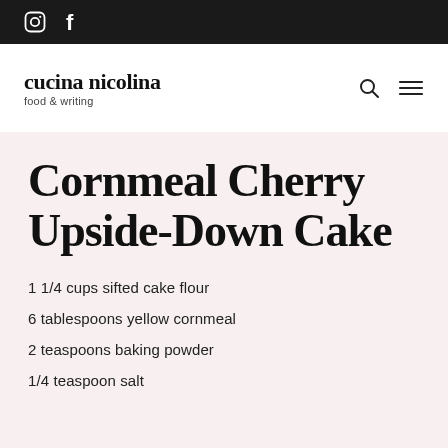cucina nicolina — food & writing [with Instagram and Facebook icons and search/menu icons]
Cornmeal Cherry Upside-Down Cake
1 1/4 cups sifted cake flour
6 tablespoons yellow cornmeal
2 teaspoons baking powder
1/4 teaspoon salt